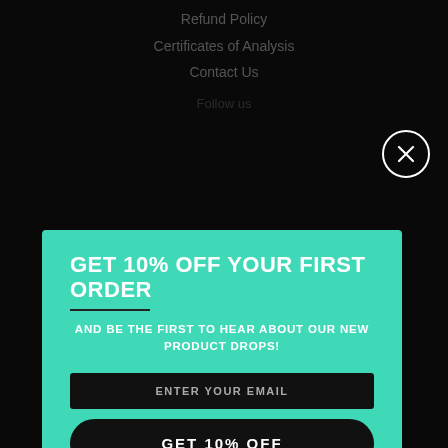Refund Policy
Certificates of Analysis
Contact Us
Follow us
GET 10% OFF YOUR FIRST ORDER
AND BE THE FIRST TO HEAR ABOUT OUR NEW PRODUCT DROPS!
ENTER YOUR EMAIL
GET 10% OFF
Powered by omnisend
Copyright © 2022, MA___s. Powered by Shopify